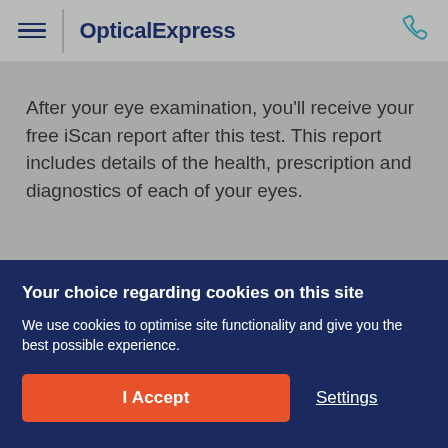OpticalExpress
After your eye examination, you'll receive your free iScan report after this test. This report includes details of the health, prescription and diagnostics of each of your eyes.
Your choice regarding cookies on this site
We use cookies to optimise site functionality and give you the best possible experience.
I Accept
Settings